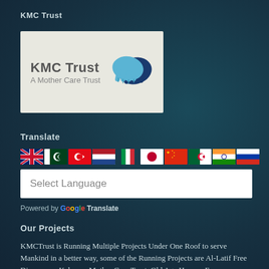KMC Trust
[Figure (logo): KMC Trust logo with heart/hands icon. Text: KMC Trust, A Mother Care Trust]
Translate
[Figure (infographic): Row of country flag icons: UK, Pakistan, Turkey, Netherlands, Italy, Japan, China, Algeria, India, Russia]
Select Language
Powered by Google Translate
Our Projects
KMCTrust is Running Multiple Projects Under One Roof to serve Mankind in a better way, some of the Running Projects are Al-Latif Free Dispensary, Kalsoom Mother Care Trust, Old Age Homes, Free Education for Poor and Orphans, and